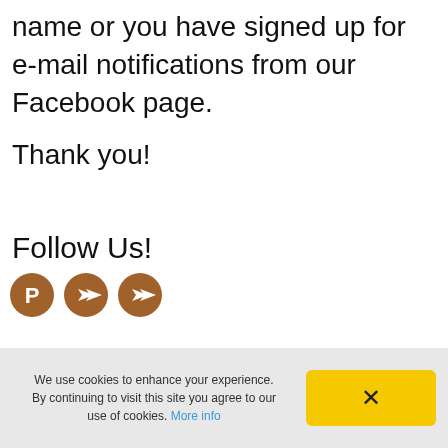name or you have signed up for e-mail notifications from our Facebook page.
Thank you!
Follow Us!
[Figure (illustration): Three social media icon circles in brown/orange color: Pinterest icon, share/forward arrow icon, share/forward arrow icon]
We use cookies to enhance your experience. By continuing to visit this site you agree to our use of cookies. More info